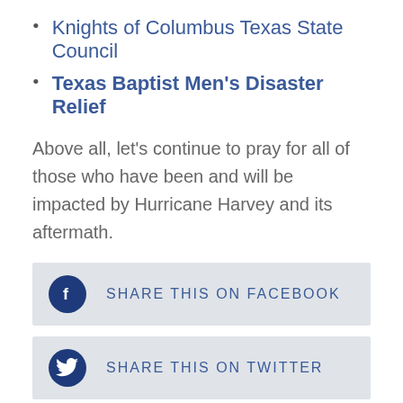Knights of Columbus Texas State Council
Texas Baptist Men's Disaster Relief
Above all, let's continue to pray for all of those who have been and will be impacted by Hurricane Harvey and its aftermath.
[Figure (infographic): Share on Facebook button with Facebook icon (blue circle with white 'f') and text 'SHARE THIS ON FACEBOOK']
[Figure (infographic): Share on Twitter button with Twitter icon (blue circle with white bird) and text 'SHARE THIS ON TWITTER']
RECEIVE OUR LEGISLATIVE ALERTS
SIGN UP
RELATED BLOG